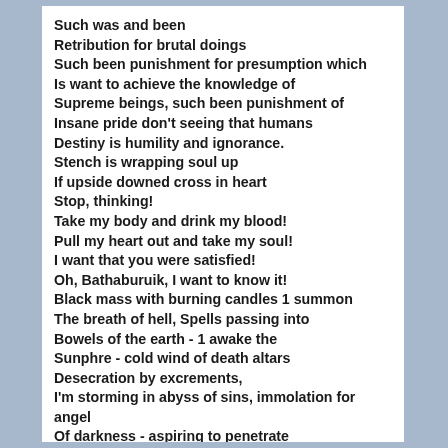Such was and been
Retribution for brutal doings
Such been punishment for presumption which
Is want to achieve the knowledge of
Supreme beings, such been punishment of
Insane pride don't seeing that humans
Destiny is humility and ignorance.
Stench is wrapping soul up
If upside downed cross in heart
Stop, thinking!
Take my body and drink my blood!
Pull my heart out and take my soul!
I want that you were satisfied!
Oh, Bathaburuik, I want to know it!
Black mass with burning candles 1 summon
The breath of hell, Spells passing into
Bowels of the earth - 1 awake the
Sunphre - cold wind of death altars
Desecration by excrements,
I'm storming in abyss of sins, immolation for angel
Of darkness - aspiring to penetrate
Beyond knowledge
Continuing unholy sins,
Rotting and damned to hell
Tearing by greedy lust, taking pleasure
Until the voice from abyss will not exclaim: "it's